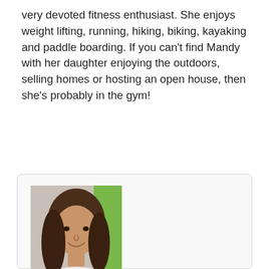very devoted fitness enthusiast. She enjoys weight lifting, running, hiking, biking, kayaking and paddle boarding. If you can't find Mandy with her daughter enjoying the outdoors, selling homes or hosting an open house, then she's probably in the gym!
[Figure (photo): Headshot photo of Mandy Robinson, a woman with long brown hair, smiling, with a green outdoor background]
Mandy Robinson
Broker / REALTOR®
Office: 252-491-3333
Outer Banks Realty Group
A Division of Eiland U Co...